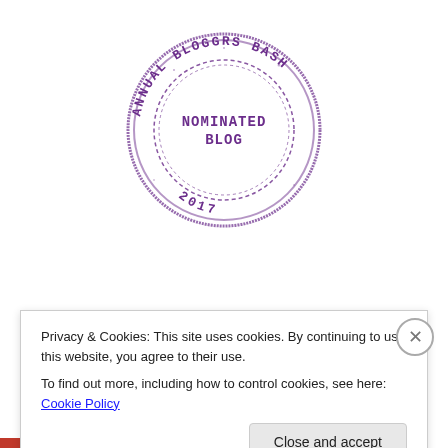[Figure (illustration): A circular rubber stamp-style badge in purple ink reading 'ANNUAL BLOGGRS BASH' around the outside and 'NOMINATED BLOG' in the center, with '2017' at the bottom and dashed inner circle accents.]
Privacy & Cookies: This site uses cookies. By continuing to use this website, you agree to their use.
To find out more, including how to control cookies, see here: Cookie Policy
Close and accept